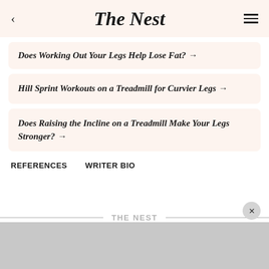The Nest
Does Working Out Your Legs Help Lose Fat? →
Hill Sprint Workouts on a Treadmill for Curvier Legs →
Does Raising the Incline on a Treadmill Make Your Legs Stronger? →
REFERENCES   WRITER BIO
THE NEST